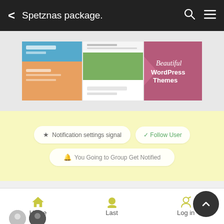Spetznas package.
[Figure (screenshot): Banner advertisement showing WordPress theme screenshots with text 'Beautiful WordPress Themes' on a pink/mauve background]
[Figure (screenshot): Yellow section with social sharing buttons: a share/notification button, a follow button, and a subscribe notification button]
Spetznas package.
Home  Last  Log in